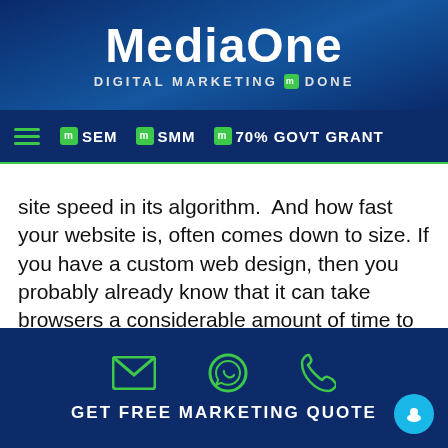MediaOne — DIGITAL MARKETING DONE
SEM | SMM | 70% GOVT GRANT
site speed in its algorithm. And how fast your website is, often comes down to size. If you have a custom web design, then you probably already know that it can take browsers a considerable amount of time to download the code that happens to make up your page. It needs to download your HTML, scripts, stylesheets, and your images. As users start to expect sites to feature designs that are more engaging, the size of these files continues to grow. And each new feature will require a new script or stylesheet that will inevitably weigh down your website a little...
GET FREE MARKETING QUOTE